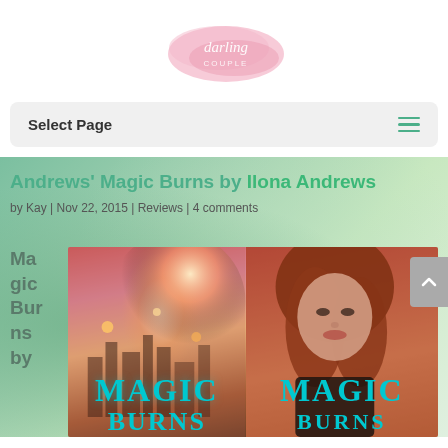[Figure (logo): Darling Couple blog logo — pink watercolor splash with white cursive text 'darling couple']
Select Page
Andrews' Magic Burns by Ilona Andrews
by Kay | Nov 22, 2015 | Reviews | 4 comments
[Figure (photo): Book cover of Magic Burns by Ilona Andrews showing a woman with red hair and a glowing city skyline with teal title text 'MAGIC BURNS']